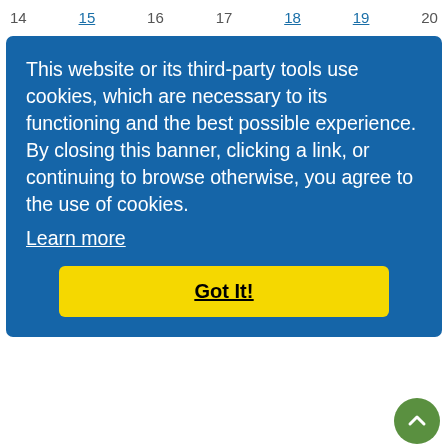14 15 16 17 18 19 20
This website or its third-party tools use cookies, which are necessary to its functioning and the best possible experience. By closing this banner, clicking a link, or continuing to browse otherwise, you agree to the use of cookies. Learn more
Got It!
| Date | Event |
| --- | --- |
| 31 AUG | Wheel Tax |
| 15 SEP | Payment of Wages/Salaries/Pensions |
| 15 SEP | Vat, Social Services Levy, Travel Tax, Withholding Tax, Tourism Development Levy
8:00am |